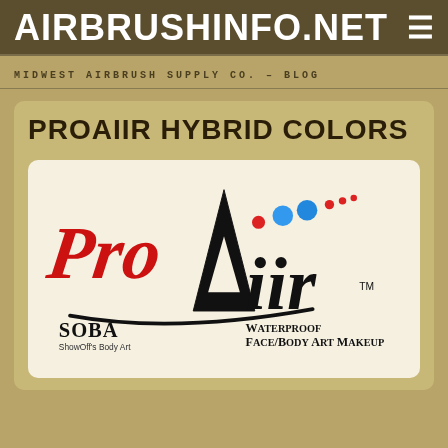AIRBRUSHINFO.NET ≡
MIDWEST AIRBRUSH SUPPLY CO. – BLOG
PROAIIR HYBRID COLORS
[Figure (logo): ProAiir Waterproof Face/Body Art Makeup logo with SOBA ShowOff's Body Art branding. Features stylized red cursive 'Pro' text, black 'Aiir' with colored dots (red, blue, more red dots), and the tagline 'Waterproof Face/Body Art Makeup' in bold serif text.]